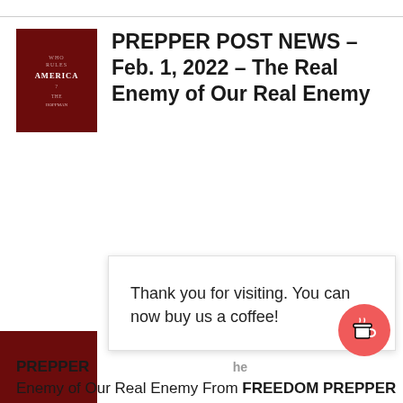[Figure (illustration): Dark red book cover with small text reading 'Who Rules America?' and author name]
PREPPER POST NEWS – Feb. 1, 2022 – The Real Enemy of Our Real Enemy
Thank you for visiting. You can now buy us a coffee!
PREPPER ... he ...
Enemy of Our Real Enemy From FREEDOM PREPPER